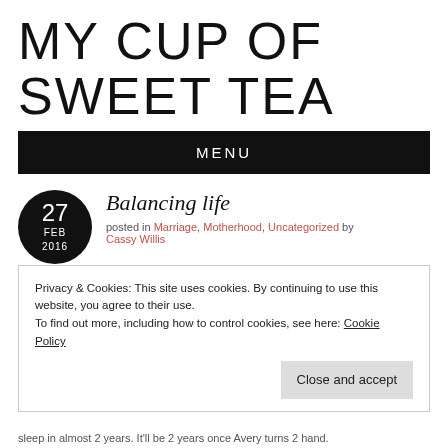MY CUP OF SWEET TEA
MENU
[Figure (other): Circular date badge showing 27 FEB 2016]
Balancing life
posted in Marriage, Motherhood, Uncategorized by Cassy Willis
Privacy & Cookies: This site uses cookies. By continuing to use this website, you agree to their use.
To find out more, including how to control cookies, see here: Cookie Policy
Close and accept
sleep in almost 2 years. It'll be 2 years once Avery turns 2 hand.